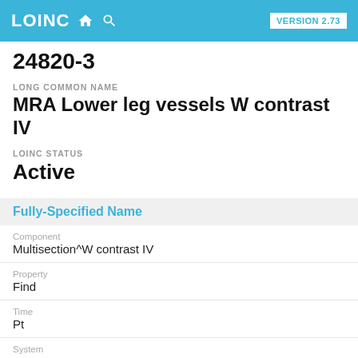LOINC VERSION 2.73
24820-3
LONG COMMON NAME
MRA Lower leg vessels W contrast IV
LOINC STATUS
Active
Fully-Specified Name
Component
Multisection^W contrast IV
Property
Find
Time
Pt
System